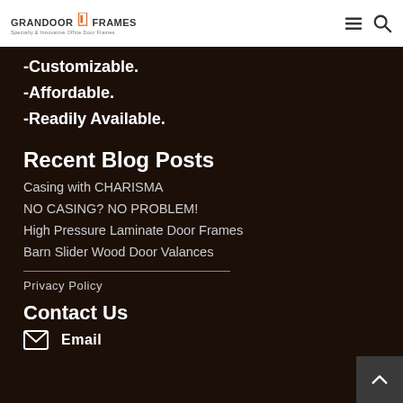GRANDOOR FRAMES — menu and search icons
-Customizable.
-Affordable.
-Readily Available.
Recent Blog Posts
Casing with CHARISMA
NO CASING? NO PROBLEM!
High Pressure Laminate Door Frames
Barn Slider Wood Door Valances
Privacy Policy
Contact Us
Email